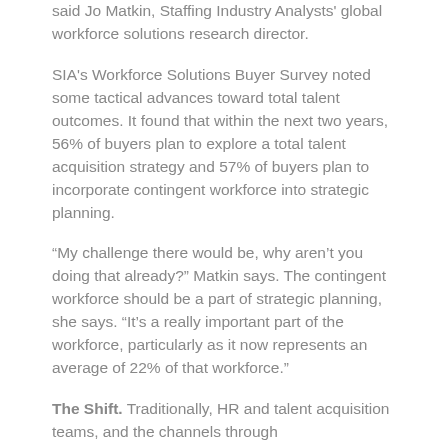said Jo Matkin, Staffing Industry Analysts' global workforce solutions research director.
SIA's Workforce Solutions Buyer Survey noted some tactical advances toward total talent outcomes. It found that within the next two years, 56% of buyers plan to explore a total talent acquisition strategy and 57% of buyers plan to incorporate contingent workforce into strategic planning.
“My challenge there would be, why aren’t you doing that already?” Matkin says. The contingent workforce should be a part of strategic planning, she says. “It’s a really important part of the workforce, particularly as it now represents an average of 22% of that workforce.”
The Shift. Traditionally, HR and talent acquisition teams, and the channels through